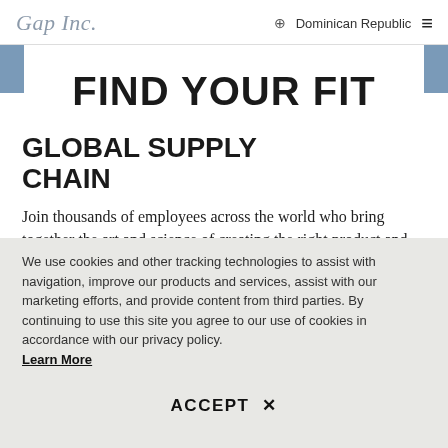Gap Inc. | Dominican Republic
FIND YOUR FIT
GLOBAL SUPPLY CHAIN
Join thousands of employees across the world who bring together the art and science of creating the right product and delivering it into
We use cookies and other tracking technologies to assist with navigation, improve our products and services, assist with our marketing efforts, and provide content from third parties. By continuing to use this site you agree to our use of cookies in accordance with our privacy policy. Learn More
ACCEPT ✕